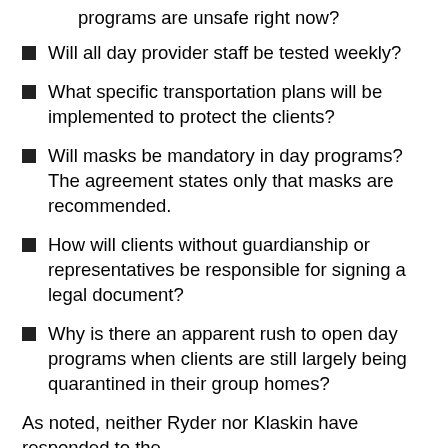programs are unsafe right now?
Will all day provider staff be tested weekly?
What specific transportation plans will be implemented to protect the clients?
Will masks be mandatory in day programs? The agreement states only that masks are recommended.
How will clients without guardianship or representatives be responsible for signing a legal document?
Why is there an apparent rush to open day programs when clients are still largely being quarantined in their group homes?
As noted, neither Ryder nor Klaskin have responded to the